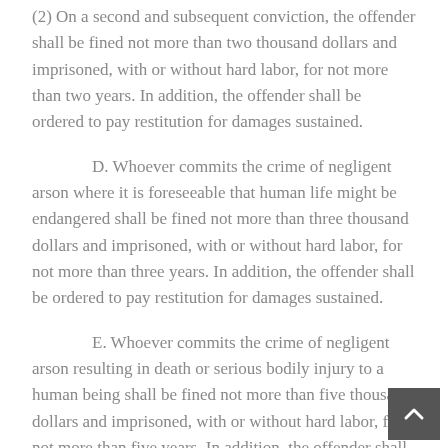(2) On a second and subsequent conviction, the offender shall be fined not more than two thousand dollars and imprisoned, with or without hard labor, for not more than two years. In addition, the offender shall be ordered to pay restitution for damages sustained.
D. Whoever commits the crime of negligent arson where it is foreseeable that human life might be endangered shall be fined not more than three thousand dollars and imprisoned, with or without hard labor, for not more than three years. In addition, the offender shall be ordered to pay restitution for damages sustained.
E. Whoever commits the crime of negligent arson resulting in death or serious bodily injury to a human being shall be fined not more than five thousand dollars and imprisoned, with or without hard labor, for not more than five years. In addition, the offender shall be ordered to pay restitution for damages sustained. For the purposes of this Subsection, "serious bodily injury" means bodily injury tha...